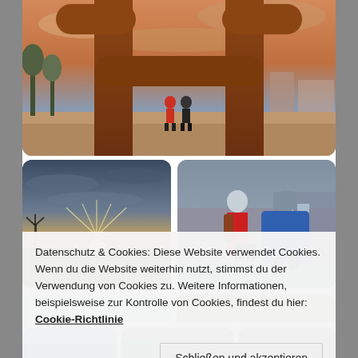[Figure (photo): Large photo of a metal H-shaped sculpture/monument in a public square, two people standing beneath it, trees and buildings in background, sunset sky]
[Figure (photo): Photo of a sunset over water/flat landscape with dramatic sun rays through clouds]
[Figure (photo): Photo of two people standing in the rain, one in red jacket with backpack, one in blue rain poncho, urban background]
[Figure (photo): Partial photo of sky with clouds (bottom of page)]
[Figure (photo): Partial photo cropped at bottom]
Datenschutz & Cookies: Diese Website verwendet Cookies. Wenn du die Website weiterhin nutzt, stimmst du der Verwendung von Cookies zu. Weitere Informationen, beispielsweise zur Kontrolle von Cookies, findest du hier: Cookie-Richtlinie
Schließen und akzeptieren